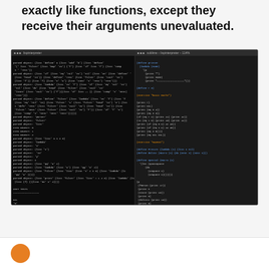exactly like functions, except they receive their arguments unevaluated.
[Figure (screenshot): Two terminal windows side by side showing Lisp/Scheme code and output. Left terminal shows parsed objects and evaluation output including MAPPING/FILTERING section. Right terminal shows Lisp code definitions including defun, lambda, defmacro, and function calls with output.]